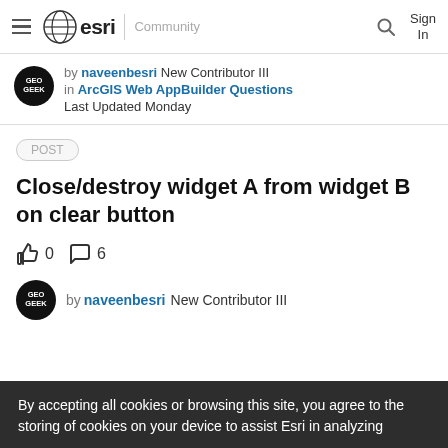esri Community — Sign In
by naveenbesri New Contributor III in ArcGIS Web AppBuilder Questions Last Updated Monday
POST
Close/destroy widget A from widget B on clear button
👍 0  💬 6
by naveenbesri New Contributor III
By accepting all cookies or browsing this site, you agree to the storing of cookies on your device to assist Esri in analyzing